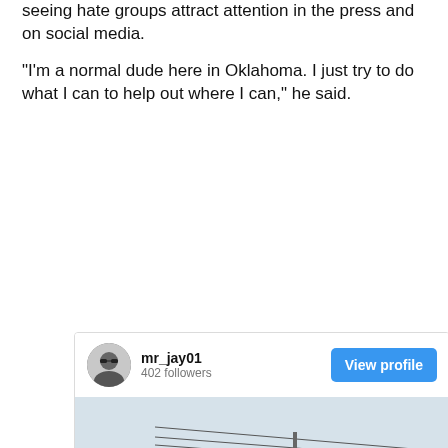seeing hate groups attract attention in the press and on social media.
“I’m a normal dude here in Oklahoma. I just try to do what I can to help out where I can,” he said.
[Figure (screenshot): Instagram profile card for mr_jay01 with 402 followers and a 'View profile' button, containing a photo of the back of a black pickup truck with a rainbow pride flag decal and text reading 'NOT ALL COUNTRY BOYS ARE BIGOTS' and 'HAPPY PRIDE MONTH']